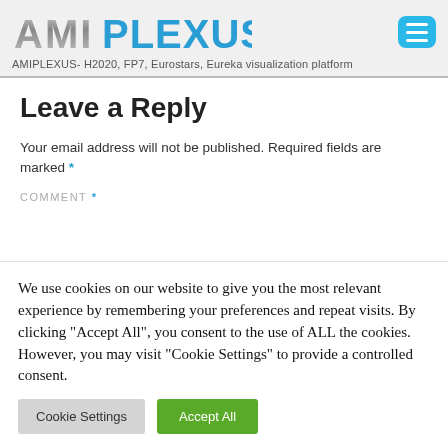AMIPLEXUS- H2020, FP7, Eurostars, Eureka visualization platform
Leave a Reply
Your email address will not be published. Required fields are marked *
COMMENT *
We use cookies on our website to give you the most relevant experience by remembering your preferences and repeat visits. By clicking "Accept All", you consent to the use of ALL the cookies. However, you may visit "Cookie Settings" to provide a controlled consent.